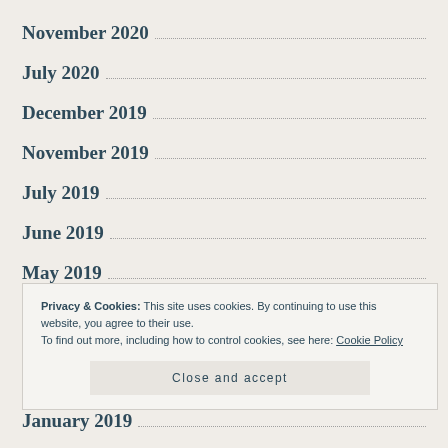November 2020
July 2020
December 2019
November 2019
July 2019
June 2019
May 2019
Privacy & Cookies: This site uses cookies. By continuing to use this website, you agree to their use. To find out more, including how to control cookies, see here: Cookie Policy
January 2019